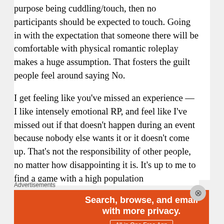purpose being cuddling/touch, then no participants should be expected to touch. Going in with the expectation that someone there will be comfortable with physical romantic roleplay makes a huge assumption. That fosters the guilt people feel around saying No.
I get feeling like you've missed an experience — I like intensely emotional RP, and feel like I've missed out if that doesn't happen during an event because nobody else wants it or it doesn't come up. That's not the responsibility of other people, no matter how disappointing it is. It's up to me to find a game with a high population
Advertisements
[Figure (other): DuckDuckGo advertisement banner: orange left panel with text 'Search, browse, and email with more privacy. All in One Free App', dark right panel with DuckDuckGo duck logo and brand name.]